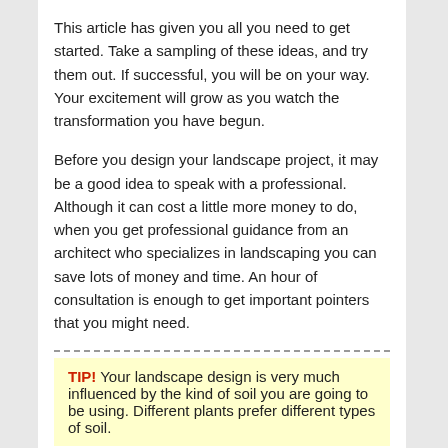This article has given you all you need to get started. Take a sampling of these ideas, and try them out. If successful, you will be on your way. Your excitement will grow as you watch the transformation you have begun.
Before you design your landscape project, it may be a good idea to speak with a professional. Although it can cost a little more money to do, when you get professional guidance from an architect who specializes in landscaping you can save lots of money and time. An hour of consultation is enough to get important pointers that you might need.
TIP! Your landscape design is very much influenced by the kind of soil you are going to be using. Different plants prefer different types of soil.
Posted in Uncategorized | Leave a reply